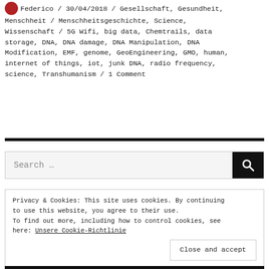Federico / 30/04/2018 / Gesellschaft, Gesundheit, Menschheit / Menschheitsgeschichte, Science, Wissenschaft / 5G Wifi, big data, Chemtrails, data storage, DNA, DNA damage, DNA Manipulation, DNA Modification, EMF, genome, GeoEngineering, GMO, human, internet of things, iot, junk DNA, radio frequency, science, Transhumanism / 1 Comment
Privacy & Cookies: This site uses cookies. By continuing to use this website, you agree to their use. To find out more, including how to control cookies, see here: Unsere Cookie-Richtlinie
Close and accept